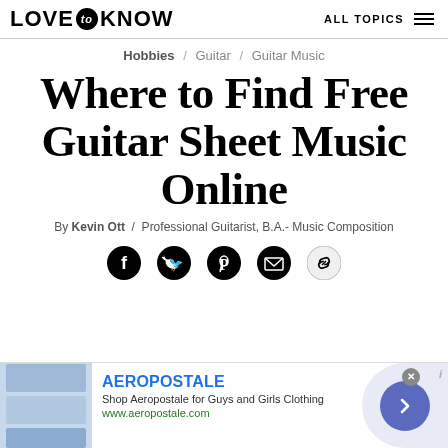LOVE to KNOW   ALL TOPICS
Hobbies / Guitar / Guitar Music
Where to Find Free Guitar Sheet Music Online
By Kevin Ott / Professional Guitarist, B.A.- Music Composition
[Figure (infographic): Social share icons: Facebook, Twitter, Pinterest, Email, Link]
[Figure (screenshot): Aeropostale advertisement banner with logo, text 'Shop Aeropostale for Guys and Girls Clothing', URL www.aeropostale.com, clothing images, and a blue arrow button]